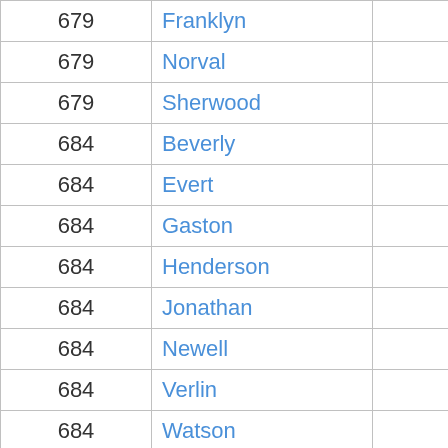| 679 | Franklyn | 84 |
| 679 | Norval | 84 |
| 679 | Sherwood | 84 |
| 684 | Beverly | 83 |
| 684 | Evert | 83 |
| 684 | Gaston | 83 |
| 684 | Henderson | 83 |
| 684 | Jonathan | 83 |
| 684 | Newell | 83 |
| 684 | Verlin | 83 |
| 684 | Watson | 83 |